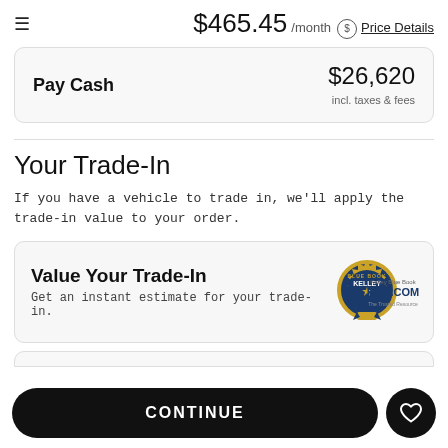$465.45 /month Price Details
Pay Cash $26,620 incl. taxes & fees
Your Trade-In
If you have a vehicle to trade in, we'll apply the trade-in value to your order.
Value Your Trade-In
Get an instant estimate for your trade-in.
CONTINUE